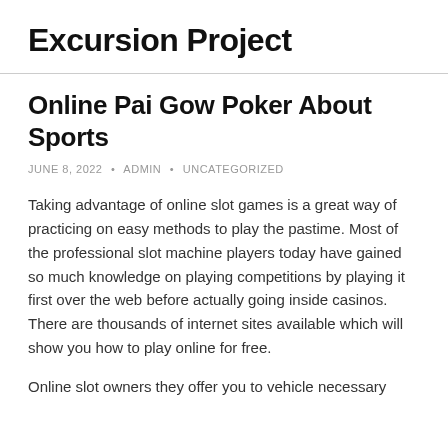Excursion Project
Online Pai Gow Poker About Sports
JUNE 8, 2022 • ADMIN • UNCATEGORIZED
Taking advantage of online slot games is a great way of practicing on easy methods to play the pastime. Most of the professional slot machine players today have gained so much knowledge on playing competitions by playing it first over the web before actually going inside casinos. There are thousands of internet sites available which will show you how to play online for free.
Online slot owners they offer you to vehicle necessary